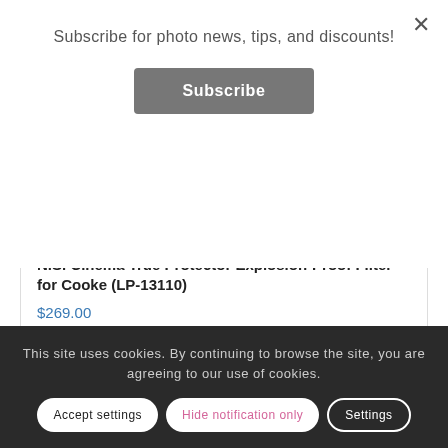Subscribe for photo news, tips, and discounts!
Subscribe
×
NiSi Cinema True Protector Explosion-Proof Filter for Cooke (LP-13110)
$269.00
[Figure (photo): Circular camera lens filter, black frame, top arc visible — NiSi Cinema True Protector Explosion-Proof Filter]
This site uses cookies. By continuing to browse the site, you are agreeing to our use of cookies.
Accept settings
Hide notification only
Settings